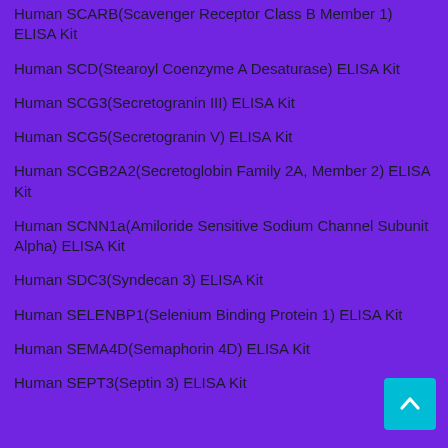Human SCARB(Scavenger Receptor Class B Member 1) ELISA Kit
Human SCD(Stearoyl Coenzyme A Desaturase) ELISA Kit
Human SCG3(Secretogranin III) ELISA Kit
Human SCG5(Secretogranin V) ELISA Kit
Human SCGB2A2(Secretoglobin Family 2A, Member 2) ELISA Kit
Human SCNN1a(Amiloride Sensitive Sodium Channel Subunit Alpha) ELISA Kit
Human SDC3(Syndecan 3) ELISA Kit
Human SELENBP1(Selenium Binding Protein 1) ELISA Kit
Human SEMA4D(Semaphorin 4D) ELISA Kit
Human SEPT3(Septin 3) ELISA Kit